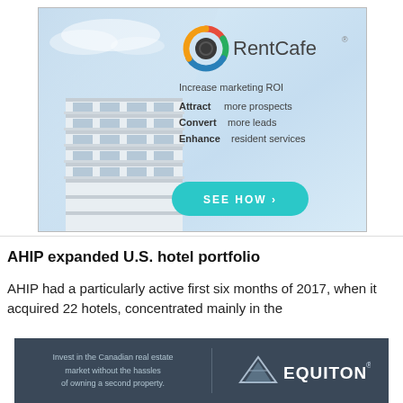[Figure (infographic): RentCafe advertisement banner: logo with colorful ring icon, text 'Increase marketing ROI', 'Attract more prospects', 'Convert more leads', 'Enhance resident services', 'SEE HOW >' button in teal, modern apartment building image on left side]
AHIP expanded U.S. hotel portfolio
AHIP had a particularly active first six months of 2017, when it acquired 22 hotels, concentrated mainly in the
[Figure (infographic): Equiton advertisement banner on dark blue-grey background: left text 'Invest in the Canadian real estate market without the hassles of owning a second property.' Right side shows geometric logo and EQUITON® wordmark in white.]